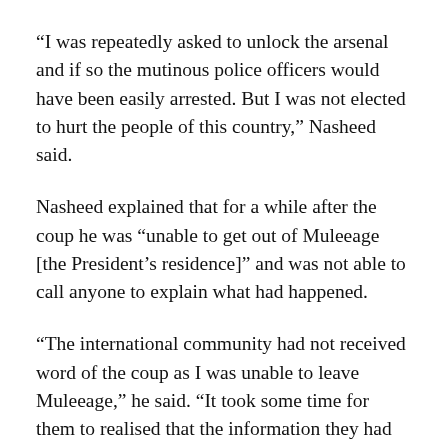“I was repeatedly asked to unlock the arsenal and if so the mutinous police officers would have been easily arrested. But I was not elected to hurt the people of this country,” Nasheed said.
Nasheed explained that for a while after the coup he was “unable to get out of Muleeage [the President’s residence]” and was not able to call anyone to explain what had happened.
“The international community had not received word of the coup as I was unable to leave Muleeage,” he said. “It took some time for them to realised that the information they had been receiving was not genuine, and by then some had urged us to join this illegal government. But I have now informed them of the real situation.